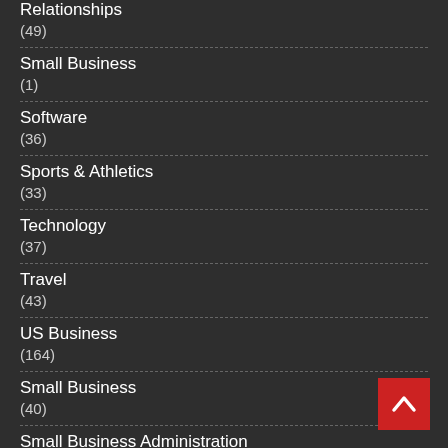Relationships
(49)
Small Business
(1)
Software
(36)
Sports & Athletics
(33)
Technology
(37)
Travel
(43)
US Business
(164)
Small Business
(40)
Small Business Administration
(63)